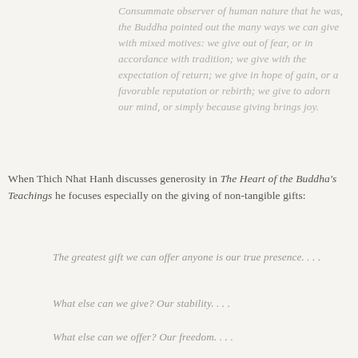Consummate observer of human nature that he was, the Buddha pointed out the many ways we can give with mixed motives: we give out of fear, or in accordance with tradition; we give with the expectation of return; we give in hope of gain, or a favorable reputation or rebirth; we give to adorn our mind, or simply because giving brings joy.
When Thich Nhat Hanh discusses generosity in The Heart of the Buddha's Teachings he focuses especially on the giving of non-tangible gifts:
The greatest gift we can offer anyone is our true presence. . . .
What else can we give? Our stability. . . .
What else can we offer? Our freedom. . . .